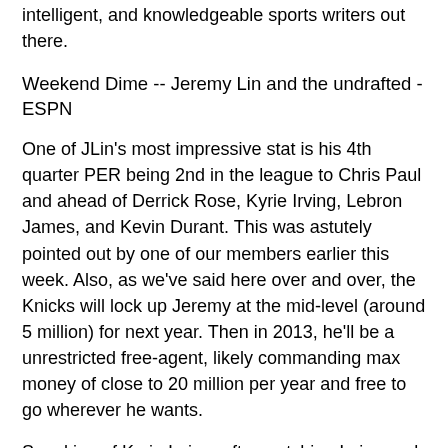intelligent, and knowledgeable sports writers out there.
Weekend Dime -- Jeremy Lin and the undrafted - ESPN
One of JLin's most impressive stat is his 4th quarter PER being 2nd in the league to Chris Paul and ahead of Derrick Rose, Kyrie Irving, Lebron James, and Kevin Durant. This was astutely pointed out by one of our members earlier this week. Also, as we've said here over and over, the Knicks will lock up Jeremy at the mid-level (around 5 million) for next year. Then in 2013, he'll be a unrestricted free-agent, likely commanding max money of close to 20 million per year and free to go wherever he wants.
Speaking of Kyrie Irving, after watching Irving and Ricky Rubio up close at the 2012 Rising Stars All-Star game and following them closely this season, we're sold on both. Rubio is basically a Jason Kidd clone. His defense is what has really surprised us. Kyrie Irving is a cross between Chris Paul and Derrick Rose. He and Jeremy will be dueling it out for years. We believe you're looking at 3 of the top young point guards today all with Hall of Fame level talent.